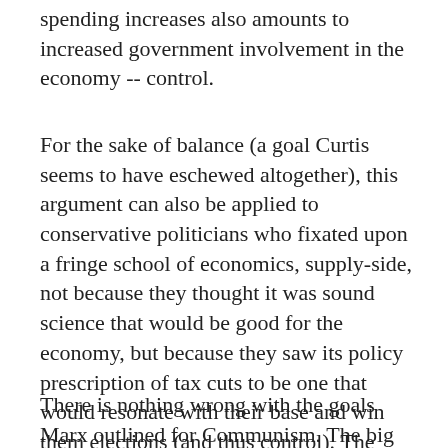spending increases also amounts to increased government involvement in the economy -- control.
For the sake of balance (a goal Curtis seems to have eschewed altogether), this argument can also be applied to conservative politicians who fixated upon a fringe school of economics, supply-side, not because they thought it was sound science that would be good for the economy, but because they saw its policy prescription of tax cuts to be one that would resonate with their base and win them elections (and thus control). The Austrian school occupies a similar fringe position within the field but is also seized upon by conservative politicians for similar reasons.
There is nothing wrong with the goals Marx outlined for Communism. The big problem as I